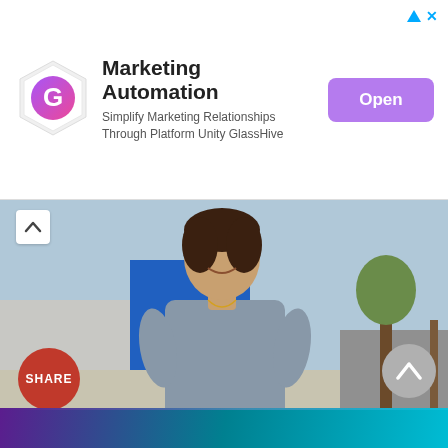[Figure (screenshot): Advertisement banner for GlassHive Marketing Automation with hexagonal logo, text, and purple 'Open' button]
[Figure (photo): Woman in grey dress smiling outdoors on a sidewalk with trees and a blue building in background. Red circular 'SHARE' button overlay at bottom left.]
Just Released: Dental Implants Are Now Free With Medicare. See Options
Dental Implant | Search Ads | Sponsored
[Figure (photo): Partial bottom image showing purple/teal colored background, appears to be another article thumbnail]